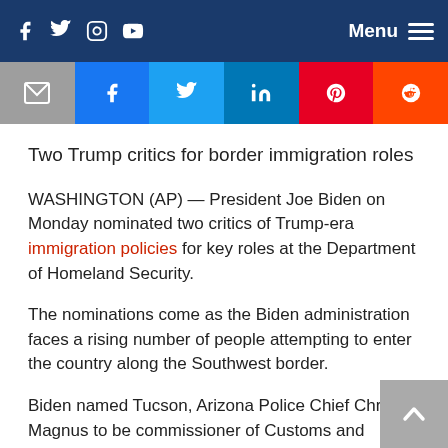Social media navigation bar with Facebook, Twitter, Instagram, YouTube icons and Menu
[Figure (infographic): Social share buttons: Email, Facebook, Twitter, LinkedIn, Pinterest, Reddit]
Two Trump critics for border immigration roles
WASHINGTON (AP) — President Joe Biden on Monday nominated two critics of Trump-era immigration policies for key roles at the Department of Homeland Security.
The nominations come as the Biden administration faces a rising number of people attempting to enter the country along the Southwest border.
Biden named Tucson, Arizona Police Chief Chris Magnus to be commissioner of Customs and Border Protection. Immigration policy expert Ur Mendoza Jaddou has been nominated to be director of